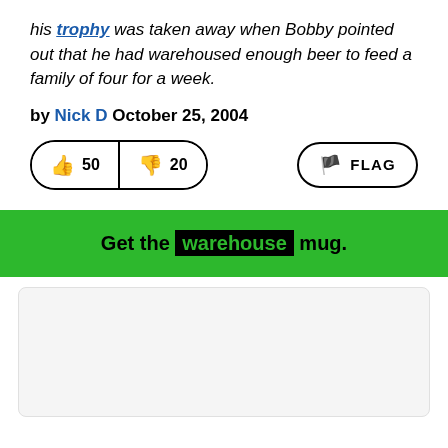his trophy was taken away when Bobby pointed out that he had warehoused enough beer to feed a family of four for a week.
by Nick D October 25, 2004
[Figure (other): Vote buttons: thumbs up 50, thumbs down 20, and a FLAG button]
Get the warehouse mug.